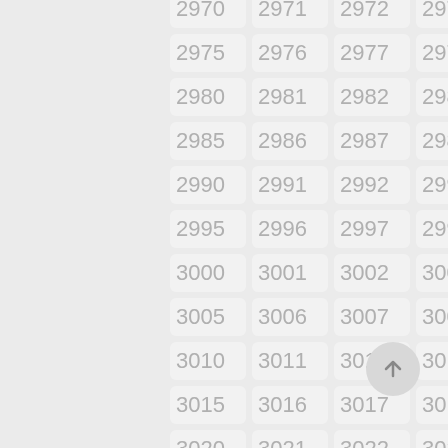[Figure (other): A grid of numbered cells from 2970 to 3024, arranged in 5 columns and 11 rows, with light gray rounded rectangle tiles on a gray background. Each cell displays a number in light gray text. A scroll-to-top button (circle with upward arrow) is visible in the lower right.]